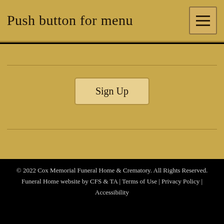Push button for menu
Sign Up
© 2022 Cox Memorial Funeral Home & Crematory. All Rights Reserved. Funeral Home website by CFS & TA | Terms of Use | Privacy Policy | Accessibility